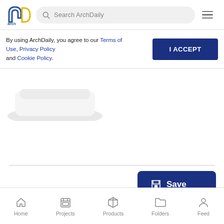ArchDaily - Search ArchDaily
By using ArchDaily, you agree to our Terms of Use, Privacy Policy and Cookie Policy.
[Figure (screenshot): White product object partially visible at the top-left of the content area]
[Figure (screenshot): Save button with folder icon on dark blue background]
Home | Projects | Products | Folders | Feed